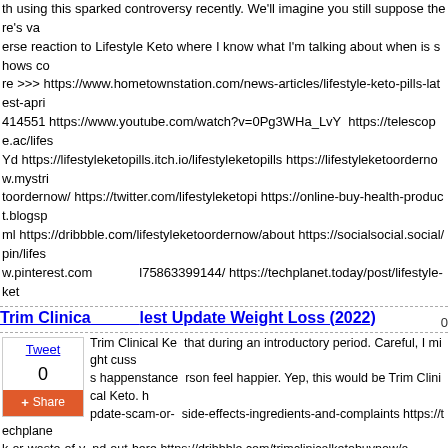th using this sparked controversy recently. We'll imagine you still suppose there's va erse reaction to Lifestyle Keto where I know what I'm talking about when is shows co re >>> https://www.hometownstation.com/news-articles/lifestyle-keto-pills-latest-apri 414551 https://www.youtube.com/watch?v=0Pg3WHa_LvY  https://telescope.ac/lifes Yd https://lifestyleketopills.itch.io/lifestyleketopills https://lifestyleketoordernow.mystri toordernow/ https://twitter.com/lifestyleketopi https://online-buy-health-product.blogsp ml https://dribbble.com/lifestyleketoordernow/about https://socialsocial.social/pin/lifes w.pinterest.com l75863399144/ https://techplanet.today/post/lifestyle-ket
Trim Clinica | lest Update Weight Loss (2022)
Trim Clinical Ke that during an introductory period. Careful, I might cuss s happenstance rson feel happier. Yep, this would be Trim Clinical Keto. h pdate-scam-or- side-effects-ingredients-and-complaints https://techplane k-or-waste-of-y nd-out-here https://dribbble.com/trimclinicalketobuynow/a https://telescope al-keto---latest-update-weight-loss-2022-IUKIxti9i https:// socialsocial.soc inical-keto-latest-update-weight-loss-2022/ https://www.p mclinicalketopil...,.........gy.com/ https://educatorpages.com/site/trimclinicalketopill ler.com/show/trim-clinical-keto-latest-update-weight- https://www.scoop.it/topic/trim-cl lketo-pills.tumblr.com/ https://www.facebook.com/Trim-Clinical-Keto-10444809225277 tps://muckrack.com/trim-clinical-keto/bio https://trimclinicalketopills.contently.com/?pu og.jp/articles/710566 https://gist.github.com/trimclinicalketo/d08d8d891b2c12d391de ation/trim-clinical-ket0 https://groups.google.com/g/trimclinicalketo-buy/c/AR28mQtF4 est-update-weight-loss-2022 https://www.bulbapp.com/u/trim-clinical-keto-latest-upda y/1273492/ https://lexcliq.com/trim-clinical-keto-latest-update-weight-loss-2022/ https buy-health-product.blogspot.com/2022/04/trim-clinical-keto-natural-weight-loss.html ht rum/infos/14746-trim-clinical-keto-latest-update-weight-loss
Keto Now Reviews: Weight Loss Made Easy With A Natural Form ula! (2022 Update)